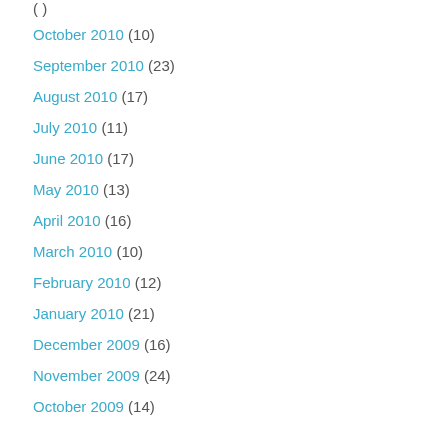October 2010 (10)
September 2010 (23)
August 2010 (17)
July 2010 (11)
June 2010 (17)
May 2010 (13)
April 2010 (16)
March 2010 (10)
February 2010 (12)
January 2010 (21)
December 2009 (16)
November 2009 (24)
October 2009 (14)